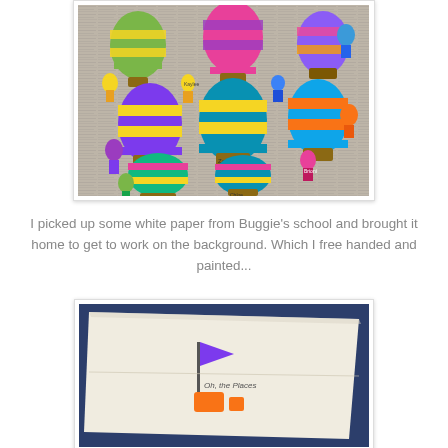[Figure (photo): Colorful painted hot air balloon eggs/orbs arranged on newspaper, with small Lorax-like character cutouts placed next to them. The balloons are painted in bright stripes of green, yellow, pink, purple, teal, and orange.]
I picked up some white paper from Buggie's school and brought it home to get to work on the background. Which I free handed and painted...
[Figure (photo): A sheet of white paper with a hand-drawn illustration featuring a purple flag on a pole and orange elements, with text reading 'Oh, the Places' visible, suggesting an 'Oh, the Places You'll Go!' Dr. Seuss themed artwork in progress.]